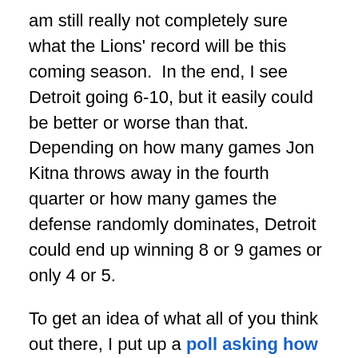am still really not completely sure what the Lions' record will be this coming season.  In the end, I see Detroit going 6-10, but it easily could be better or worse than that.  Depending on how many games Jon Kitna throws away in the fourth quarter or how many games the defense randomly dominates, Detroit could end up winning 8 or 9 games or only 4 or 5.
To get an idea of what all of you think out there, I put up a poll asking how many games the Lions will win in 2007.  After 145 responses (as of the time this article was posted), the results come in as pretty interesting.  Getting the record that would mirror 2006 out of the way first, only 4% of you think Detroit will do just as bad or worse than last season.  That's good, at least there is optimism of better things to come out there.  Moving up the win ladder a bit, 26% believe the